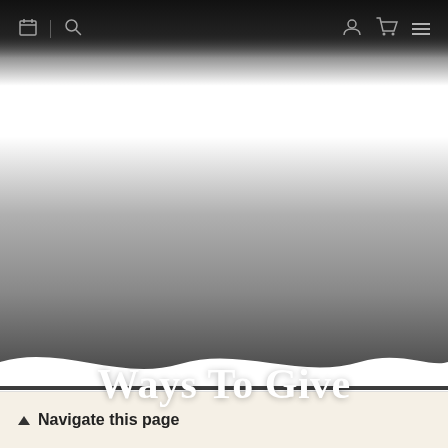[Navigation bar with icons: gift/calendar, search, user, cart, menu]
[Figure (photo): Hero banner image with dark-to-light-to-dark gradient background representing a photography or scenic image, predominantly grayscale gradient.]
Ways To Give
▲ Navigate this page